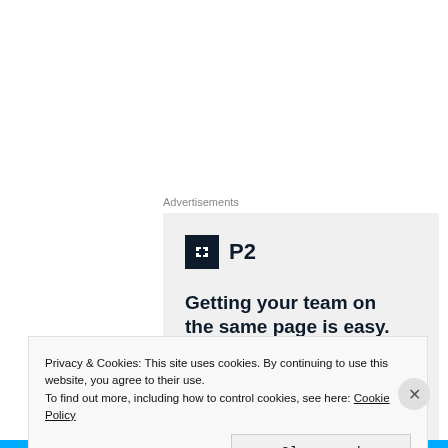Advertisements
[Figure (illustration): Advertisement banner with P2 logo (dark square icon with H-like symbol and 'P2' text) and tagline 'Getting your team on the same page is easy. And free.' on a light grey background.]
Privacy & Cookies: This site uses cookies. By continuing to use this website, you agree to their use.
To find out more, including how to control cookies, see here: Cookie Policy
Close and accept